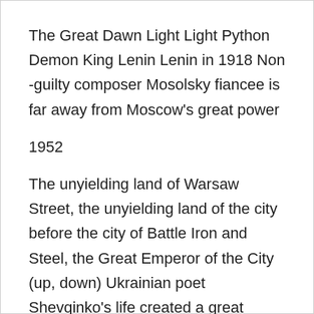The Great Dawn Light Light Python Demon King Lenin Lenin in 1918 Non -guilty composer Mosolsky fiancee is far away from Moscow's great power
1952
The unyielding land of Warsaw Street, the unyielding land of the city before the city of Battle Iron and Steel, the Great Emperor of the City (up, down) Ukrainian poet Shevqinko's life created a great citizen (upper, lower episodes) Kajia Muji Goose Boy Horseman
1953